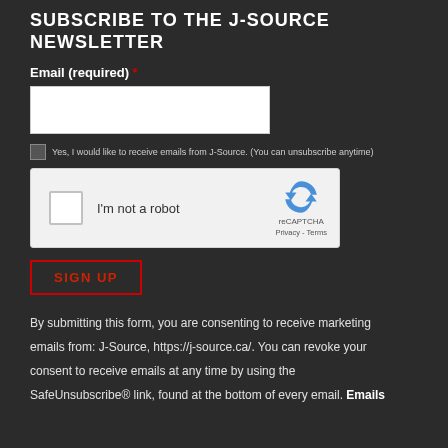SUBSCRIBE TO THE J-SOURCE NEWSLETTER
Email (required) *
[Figure (screenshot): reCAPTCHA widget with checkbox labeled I'm not a robot and reCAPTCHA logo with Privacy and Terms links]
SIGN UP
By submitting this form, you are consenting to receive marketing emails from: J-Source, https://j-source.ca/. You can revoke your consent to receive emails at any time by using the SafeUnsubscribe® link, found at the bottom of every email. Emails